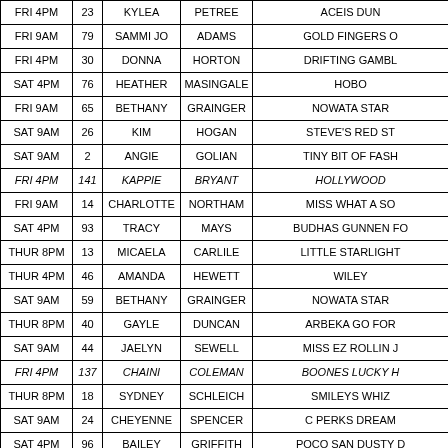| Time | # | First | Last | Horse |
| --- | --- | --- | --- | --- |
| FRI 4PM | 23 | KYLEA | PETREE | ACEIS DUN |
| FRI 9AM | 79 | SAMMI JO | ADAMS | GOLD FINGERS O |
| FRI 4PM | 30 | DONNA | HORTON | DRIFTING GAMBL |
| SAT 4PM | 76 | HEATHER | MASINGALE | HOBO |
| FRI 9AM | 65 | BETHANY | GRAINGER | NOWATA STAR |
| SAT 9AM | 26 | KIM | HOGAN | STEVE'S RED ST |
| SAT 9AM | 2 | ANGIE | GOLIAN | TINY BIT OF FASH |
| FRI 4PM | 141 | KAPPIE | BRYANT | HOLLYWOOD |
| FRI 9AM | 14 | CHARLOTTE | NORTHAM | MISS WHAT A SO |
| SAT 4PM | 93 | TRACY | MAYS | BUDHAS GUNNEN FO |
| THUR 8PM | 13 | MICAELA | CARLILE | LITTLE STARLIGHT |
| THUR 4PM | 46 | AMANDA | HEWETT | WILEY |
| SAT 9AM | 59 | BETHANY | GRAINGER | NOWATA STAR |
| THUR 8PM | 40 | GAYLE | DUNCAN | ARBEKA GO FOR |
| SAT 9AM | 44 | JAELYN | SEWELL | MISS EZ ROLLIN J |
| FRI 4PM | 137 | CHAINI | COLEMAN | BOONES LUCKY H |
| THUR 8PM | 18 | SYDNEY | SCHLEICH | SMILEYS WHIZ |
| SAT 9AM | 24 | CHEYENNE | SPENCER | C PERKS DREAM |
| SAT 4PM | 96 | BAILEY | GRIFFITH | POCO SAN DUSTY D |
| FRI 4PM | 33 | MICHELLE | WEST | BELLS LIL BRO |
| THUR 8PM | 71 | GRACE | SMALL | MOON |